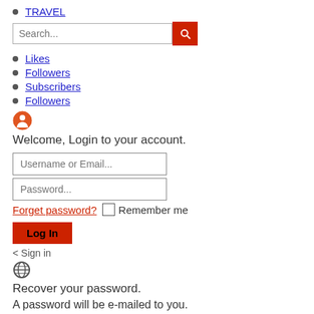TRAVEL
[Figure (screenshot): Search input box with red search button]
Likes
Followers
Subscribers
Followers
[Figure (other): User account icon (orange circle with person silhouette)]
Welcome, Login to your account.
[Figure (screenshot): Username or Email input field]
[Figure (screenshot): Password input field]
Forget password?  Remember me
[Figure (screenshot): Log In button]
< Sign in
[Figure (other): Globe/help icon]
Recover your password.
A password will be e-mailed to you.
[Figure (screenshot): Username or Email input field for password recovery]